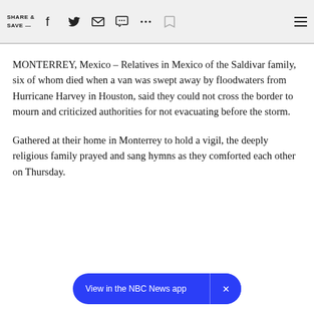SHARE & SAVE —
MONTERREY, Mexico – Relatives in Mexico of the Saldivar family, six of whom died when a van was swept away by floodwaters from Hurricane Harvey in Houston, said they could not cross the border to mourn and criticized authorities for not evacuating before the storm.
Gathered at their home in Monterrey to hold a vigil, the deeply religious family prayed and sang hymns as they comforted each other on Thursday.
View in the NBC News app